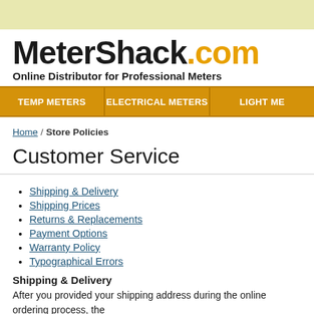[Figure (logo): MeterShack.com logo with tagline 'Online Distributor for Professional Meters']
TEMP METERS | ELECTRICAL METERS | LIGHT ME...
Home / Store Policies
Customer Service
Shipping & Delivery
Shipping Prices
Returns & Replacements
Payment Options
Warranty Policy
Typographical Errors
Shipping & Delivery
After you provided your shipping address during the online ordering process, the handling will be displayed. We do not ship on Saturday, Sunday or any National stock availability. The items listed on Amazon.com are clean, unused and in